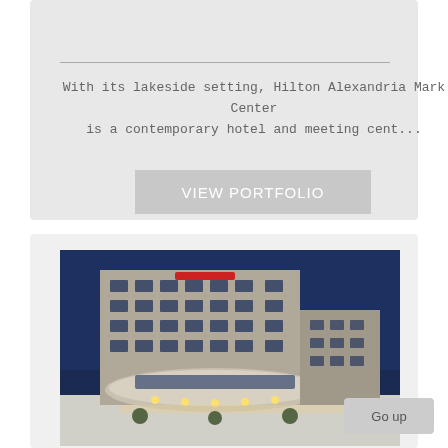With its lakeside setting, Hilton Alexandria Mark Center is a contemporary hotel and meeting cent...
VIEW PORTFOLIO
[Figure (photo): Exterior night photograph of a large modern hotel building (Marriott) with a distinctive circular entrance canopy illuminated by warm lights against a deep blue dusk sky. Multiple floors of guest rooms are visible.]
Go up